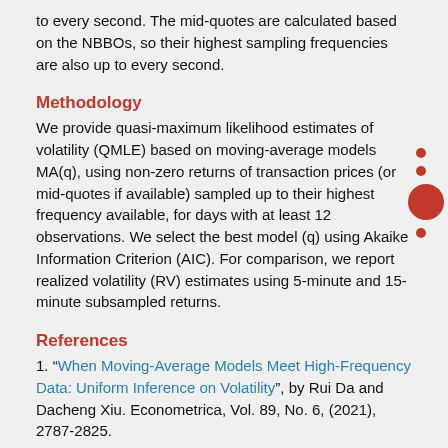to every second. The mid-quotes are calculated based on the NBBOs, so their highest sampling frequencies are also up to every second.
Methodology
We provide quasi-maximum likelihood estimates of volatility (QMLE) based on moving-average models MA(q), using non-zero returns of transaction prices (or mid-quotes if available) sampled up to their highest frequency available, for days with at least 12 observations. We select the best model (q) using Akaike Information Criterion (AIC). For comparison, we report realized volatility (RV) estimates using 5-minute and 15-minute subsampled returns.
References
1. "When Moving-Average Models Meet High-Frequency Data: Uniform Inference on Volatility", by Rui Da and Dacheng Xiu. Econometrica, Vol. 89, No. 6, (2021), 2787-2825.
2. "Quasi-Maximum Likelihood Estimation of Volatility with High Frequency Data", by Dacheng Xiu. Journal of Econometrics, 159 (2010), 235-250.
3. "How Often to Sample A Continuous-time Process in the Presence of Market Microstructure Noise", by Yacine Aït-Sahalia.